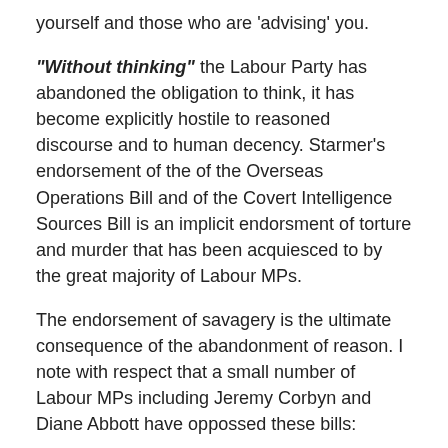yourself and those who are 'advising' you.
"Without thinking" the Labour Party has abandoned the obligation to think, it has become explicitly hostile to reasoned discourse and to human decency. Starmer's endorsement of the of the Overseas Operations Bill and of the Covert Intelligence Sources Bill is an implicit endorsment of torture and murder that has been acquiesced to by the great majority of Labour MPs.
The endorsement of savagery is the ultimate consequence of the abandonment of reason. I note with respect that a small number of Labour MPs including Jeremy Corbyn and Diane Abbott have oppossed these bills:
See: https://labourlist.org/.../commons-abstentions-are.../